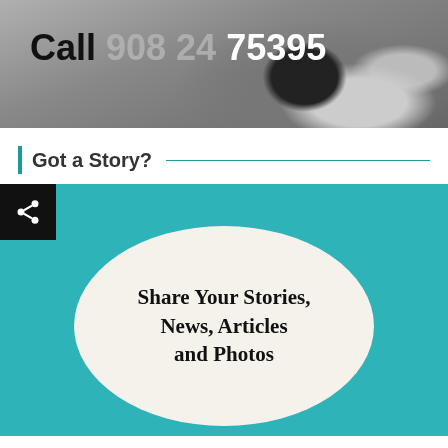[Figure (photo): Close-up photo of a cat's nose/face with overlaid text reading 'Call 908 24 75395']
Got a Story?
[Figure (infographic): Teal background with share icon in top-left black box and a white oval containing text 'Share Your Stories, News, Articles and Photos']